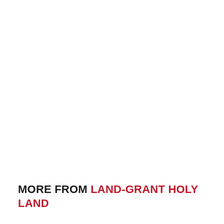MORE FROM LAND-GRANT HOLY LAND